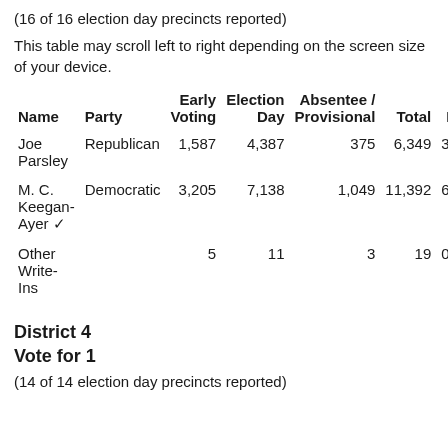(16 of 16 election day precincts reported)
This table may scroll left to right depending on the screen size of your device.
| Name | Party | Early Voting | Election Day | Absentee / Provisional | Total | Per |
| --- | --- | --- | --- | --- | --- | --- |
| Joe Parsley | Republican | 1,587 | 4,387 | 375 | 6,349 | 35.7 |
| M. C. Keegan-Ayer ✓ | Democratic | 3,205 | 7,138 | 1,049 | 11,392 | 64.1 |
| Other Write-Ins |  | 5 | 11 | 3 | 19 | 0.19 |
District 4
Vote for 1
(14 of 14 election day precincts reported)